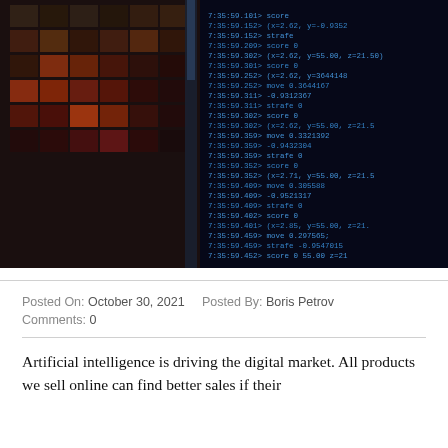[Figure (photo): Dark screen showing scrolling code/log output with coordinates and strafe values, next to a reflective building exterior with red/gold tones]
Posted On: October 30, 2021   Posted By: Boris Petrov
Comments: 0
Artificial intelligence is driving the digital market. All products we sell online can find better sales if their